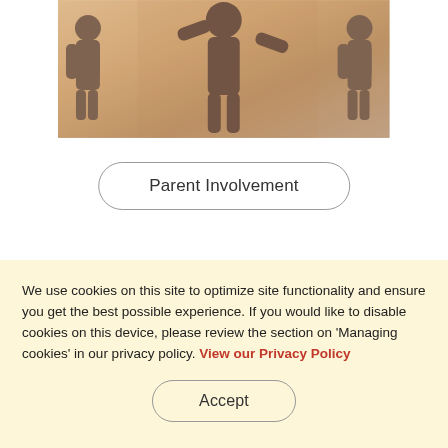[Figure (photo): Photo of paper chain silhouette figures holding hands, warm vintage tone with orange/brown tones]
Parent Involvement
We use cookies on this site to optimize site functionality and ensure you get the best possible experience. If you would like to disable cookies on this device, please review the section on 'Managing cookies' in our privacy policy. View our Privacy Policy
Accept